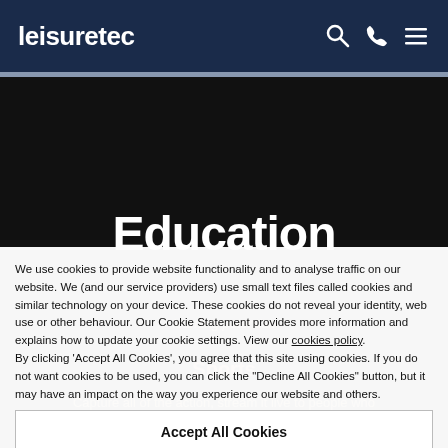leisuretec
Education
We use cookies to provide website functionality and to analyse traffic on our website. We (and our service providers) use small text files called cookies and similar technology on your device. These cookies do not reveal your identity, web use or other behaviour. Our Cookie Statement provides more information and explains how to update your cookie settings. View our cookies policy.
By clicking 'Accept All Cookies', you agree that this site using cookies. If you do not want cookies to be used, you can click the "Decline All Cookies" button, but it may have an impact on the way you experience our website and others.
Accept All Cookies
Decline All Cookies